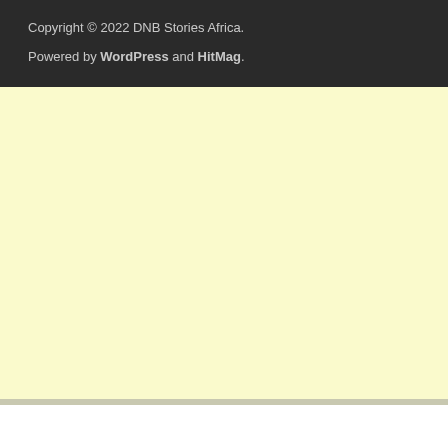Copyright © 2022 DNB Stories Africa.
Powered by WordPress and HitMag.